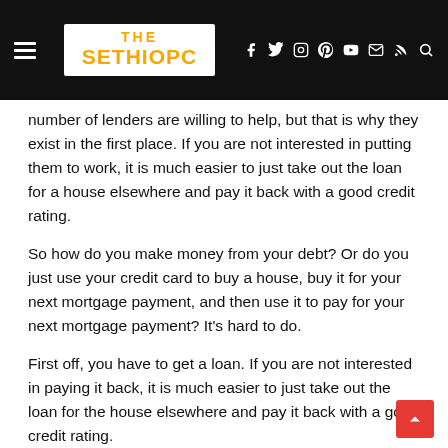THE SETHIOPC — navigation bar
number of lenders are willing to help, but that is why they exist in the first place. If you are not interested in putting them to work, it is much easier to just take out the loan for a house elsewhere and pay it back with a good credit rating.
So how do you make money from your debt? Or do you just use your credit card to buy a house, buy it for your next mortgage payment, and then use it to pay for your next mortgage payment? It's hard to do.
First off, you have to get a loan. If you are not interested in paying it back, it is much easier to just take out the loan for the house elsewhere and pay it back with a good credit rating.
This may not be the easiest of financial things to do, but it can be done. In fact, for some people, using credit cards and a credit card company to pay for their debt is the easiest way to pay for their…